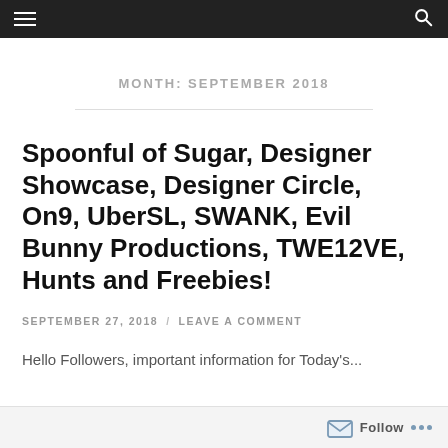MONTH: SEPTEMBER 2018
Spoonful of Sugar, Designer Showcase, Designer Circle, On9, UberSL, SWANK, Evil Bunny Productions, TWE12VE, Hunts and Freebies!
SEPTEMBER 27, 2018 / LEAVE A COMMENT
Hello Followers, important information for Today's...
Follow